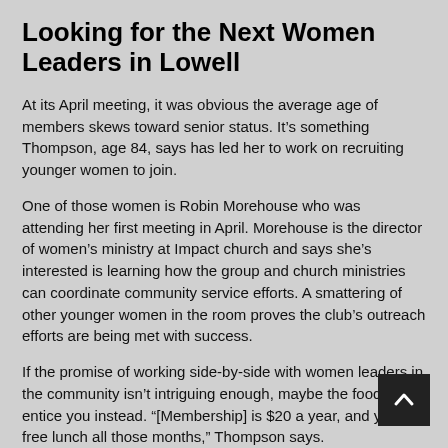Looking for the Next Women Leaders in Lowell
At its April meeting, it was obvious the average age of members skews toward senior status. It’s something Thompson, age 84, says has led her to work on recruiting younger women to join.
One of those women is Robin Morehouse who was attending her first meeting in April. Morehouse is the director of women’s ministry at Impact church and says she’s interested is learning how the group and church ministries can coordinate community service efforts. A smattering of other younger women in the room proves the club’s outreach efforts are being met with success.
If the promise of working side-by-side with women leaders in the community isn’t intriguing enough, maybe the food will entice you instead. “[Membership] is $20 a year, and you’ free lunch all those months,” Thompson says.